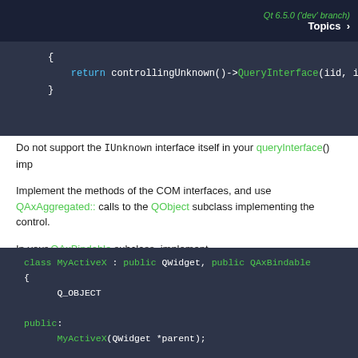Qt 6.5.0 ('dev' branch) Topics >
[Figure (screenshot): Code block showing: { return controllingUnknown()->QueryInterface(iid, iface }]
Do not support the IUnknown interface itself in your queryInterface() imp
Implement the methods of the COM interfaces, and use QAxAggregated:: calls to the QObject subclass implementing the control.
In your QAxBindable subclass, implement QAxBindable::createAggregate() the QAxAggregated subclass.
[Figure (screenshot): Code block showing: class MyActiveX : public QWidget, public QAxBindable { Q_OBJECT public: MyActiveX(QWidget *parent); QAxAggregated *createAggregate() {]